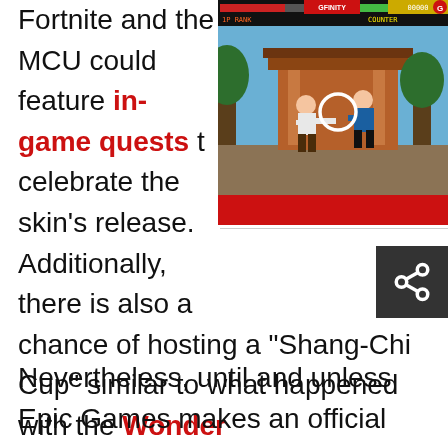Fortnite and the MCU could feature in-game quests to celebrate the skin's release. Additionally, there is also a chance of hosting a "Shang-Chi Cup" similar to what happened with the Wonder Woman skin earlier this month.
[Figure (screenshot): Screenshot of a retro fighting video game (resembling Mortal Kombat) showing two fighters, one in white shirt and one in blue, with HUD elements showing health bars and score at top.]
Nevertheless, until and unless Epic Games makes an official announcement the release of Shang-Chi's skin in Fortnite, all of this remains mere conjecture. Needless to say, countless fans are eagerly waiting for the MCU's newest superhero to make an appearance in Fortnite and Epic Games would definitely want to provide the